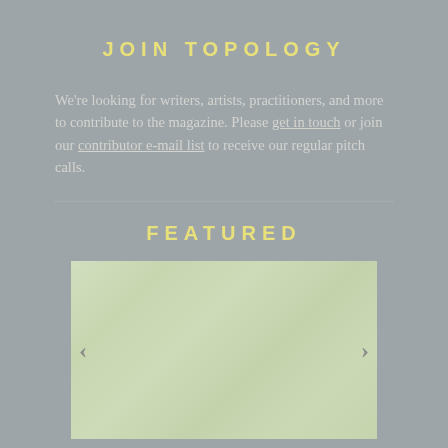JOIN TOPOLOGY
We're looking for writers, artists, practitioners, and more to contribute to the magazine. Please get in touch or join our contributor e-mail list to receive our regular pitch calls.
FEATURED
[Figure (photo): A light green textured background image used as a featured article thumbnail, with left and right navigation arrows on either side.]